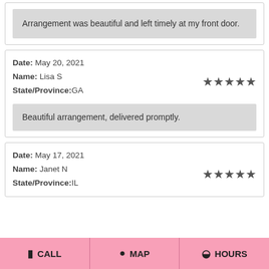Arrangement was beautiful and left timely at my front door.
Date: May 20, 2021
Name: Lisa S
State/Province:GA
Beautiful arrangement, delivered promptly.
Date: May 17, 2021
Name: Janet N
State/Province:IL
CALL   MAP   HOURS